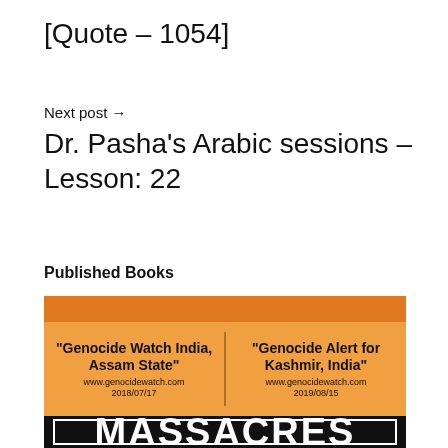[Quote – 1054]
Next post →
Dr. Pasha's Arabic sessions – Lesson: 22
Published Books
[Figure (illustration): Book cover image showing two Genocide Watch citations in orange panels and the word MASSACRES in white on black background. Left panel: '"Genocide Watch India, Assam State"' www.genocidewatch.com 2018/07/17. Right panel: '"Genocide Alert for Kashmir, India"' www.genocidewatch.com 2019/08/15.]